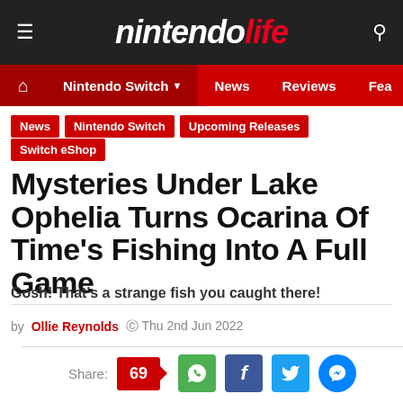nintendo life
Nintendo Switch | News | Reviews | Fea
News
Nintendo Switch
Upcoming Releases
Switch eShop
Mysteries Under Lake Ophelia Turns Ocarina Of Time's Fishing Into A Full Game
Gosh! That's a strange fish you caught there!
by Ollie Reynolds © Thu 2nd Jun 2022
Share: 69